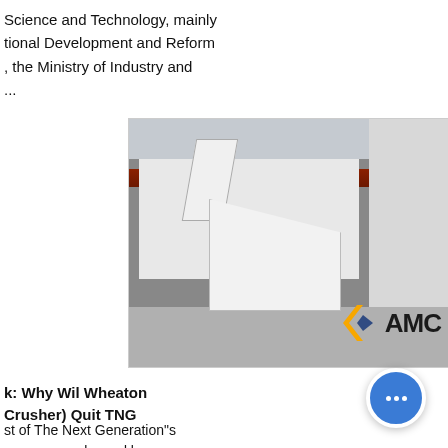Science and Technology, mainly tional Development and Reform , the Ministry of Industry and ...
[Figure (photo): Industrial machine (crusher/screening equipment) in a factory setting with AMC logo visible in the lower right corner. The machine is white with some dark accents.]
k: Why Wil Wheaton Crusher) Quit TNG
st of The Next Generation"s rew were embraced by